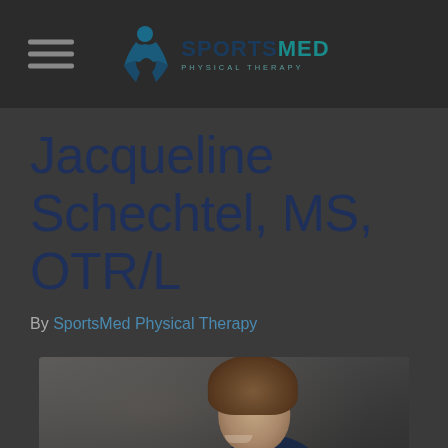SportsMed Physical Therapy
Jacqueline Schechtel, MS, OTR/L
By SportsMed Physical Therapy
[Figure (photo): Portrait photograph of Jacqueline Schechtel, a woman with long hair, smiling, shown from shoulders up against a dark background]